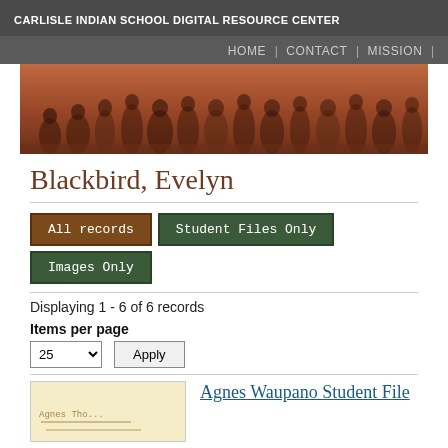CARLISLE INDIAN SCHOOL DIGITAL RESOURCE CENTER
HOME | CONTACT | MISSION |
[Figure (photo): Sepia-toned historical photograph of a group of Native American people, men and women, posed together outdoors.]
Blackbird, Evelyn
All records | Student Files Only | Images Only
Displaying 1 - 6 of 6 records
Items per page
25
Apply
Agnes Waupano Student File